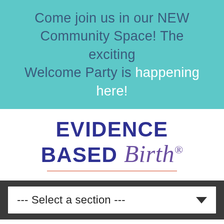Come join us in our NEW Community Space! The exciting Welcome Party is happening here!
[Figure (logo): Evidence Based Birth logo with cursive 'Birth' script and decorative underline]
--- Select a section ---
[Figure (logo): The Evidence Based Birth badge/seal partially visible at bottom of page]